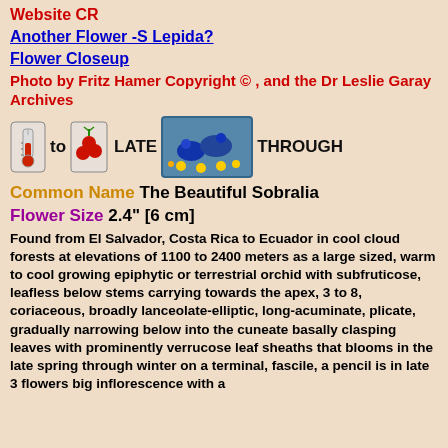Website CR
Another Flower -S Lepida?
Flower Closeup
Photo by Fritz Hamer Copyright © , and the Dr Leslie Garay Archives
[Figure (illustration): Season icons showing a thermometer/calendar icon and a bird illustration, with text: to LATE THROUGH]
Common Name The Beautiful Sobralia
Flower Size 2.4" [6 cm]
Found from El Salvador, Costa Rica to Ecuador in cool cloud forests at elevations of 1100 to 2400 meters as a large sized, warm to cool growing epiphytic or terrestrial orchid with subfruticose, leafless below stems carrying towards the apex, 3 to 8, coriaceous, broadly lanceolate-elliptic, long-acuminate, plicate, gradually narrowing below into the cuneate basally clasping leaves with prominently verrucose leaf sheaths that blooms in the late spring through winter on a terminal, fascile, a pencil is in late 3 flowers big inflorescence with a